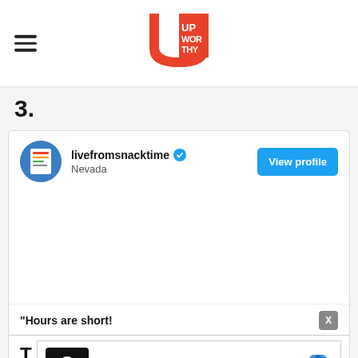Upworthy
3.
[Figure (screenshot): Social media profile card for livefromsnacktime with Nevada location and View profile button]
"Hours are short!
[Figure (screenshot): Ad with chef logo, Dine-in and Curbside pickup options, navigation diamond icon]